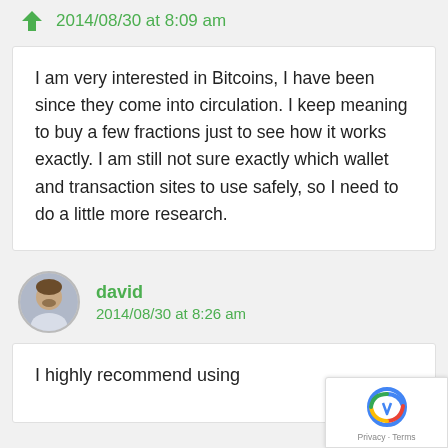2014/08/30 at 8:09 am
I am very interested in Bitcoins, I have been since they come into circulation. I keep meaning to buy a few fractions just to see how it works exactly. I am still not sure exactly which wallet and transaction sites to use safely, so I need to do a little more research.
david
2014/08/30 at 8:26 am
I highly recommend using